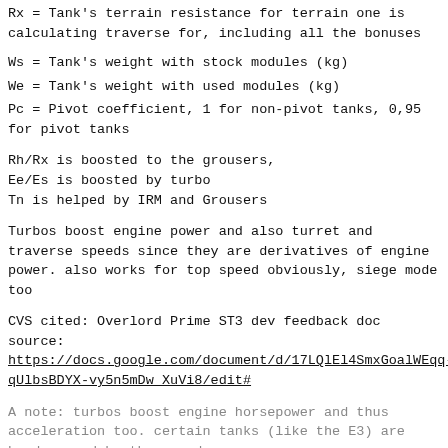Rx = Tank's terrain resistance for terrain one is calculating traverse for, including all the bonuses
Ws = Tank's weight with stock modules (kg)
We = Tank's weight with used modules (kg)
Pc = Pivot coefficient, 1 for non-pivot tanks, 0,95 for pivot tanks
Rh/Rx is boosted to the grousers,
Ee/Es is boosted by turbo
Tn is helped by IRM and Grousers
Turbos boost engine power and also turret and traverse speeds since they are derivatives of engine power. also works for top speed obviously, siege mode too
CVS cited: Overlord Prime ST3 dev feedback doc source: https://docs.google.com/document/d/17LQlEl4SmxGoalWEqq-qUlbsBDYX-vy5n5mDw_XuVi8/edit#
A note: turbos boost engine horsepower and thus acceleration too. certain tanks (like the E3) are hard capped by the speed cap at the top speed, so turbo would have negligible...